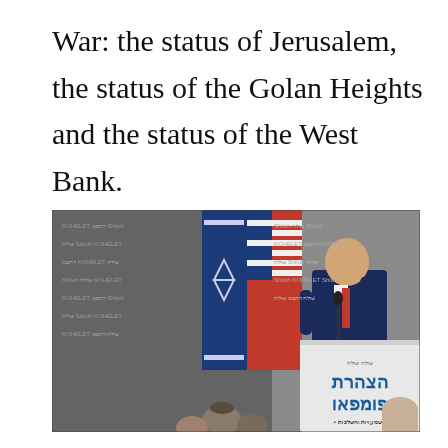War: the status of Jerusalem, the status of the Golan Heights and the status of the West Bank.
[Figure (photo): A man in a dark blue suit with a red tie stands at a white podium, gesturing with one hand raised, speaking at an event. Behind him are Israeli and American flags and a backdrop with Hebrew text including 'Shiloh' and 'Kohelet'. The podium displays Hebrew text including what appears to be 'Pompeo' declaration signage.]